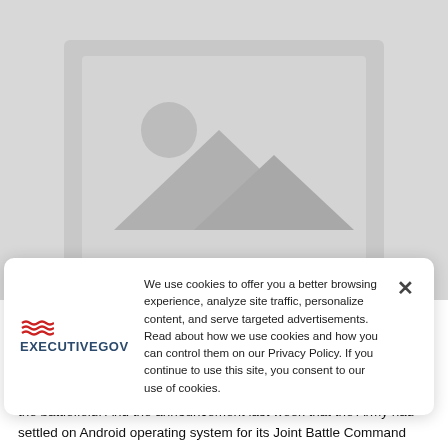[Figure (illustration): Gray image placeholder with mountain and sun icon in center, on a gray background]
We use cookies to offer you a better browsing experience, analyze site traffic, personalize content, and serve targeted advertisements. Read about how we use cookies and how you can control them on our Privacy Policy. If you continue to use this site, you consent to our use of cookies.
the battlefield. And the announcement last week that the Army had settled on Android operating system for its Joint Battle Command